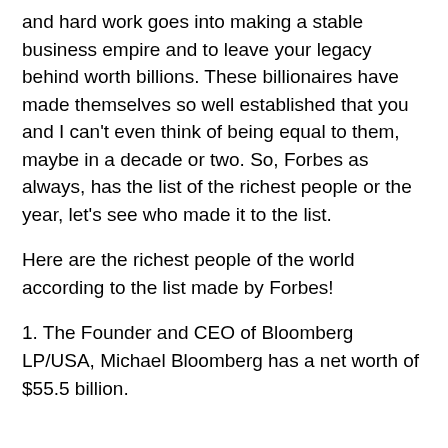and hard work goes into making a stable business empire and to leave your legacy behind worth billions. These billionaires have made themselves so well established that you and I can't even think of being equal to them, maybe in a decade or two. So, Forbes as always, has the list of the richest people or the year, let's see who made it to the list.
Here are the richest people of the world according to the list made by Forbes!
1. The Founder and CEO of Bloomberg LP/USA, Michael Bloomberg has a net worth of $55.5 billion.